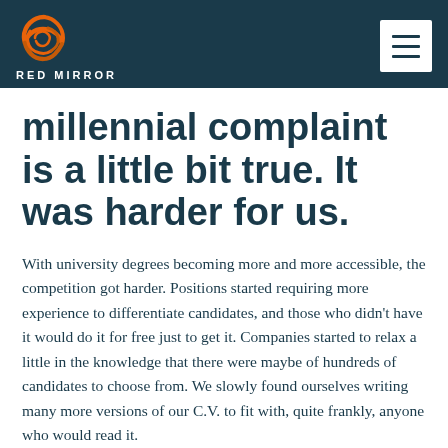RED MIRROR
millennial complaint is a little bit true. It was harder for us.
With university degrees becoming more and more accessible, the competition got harder. Positions started requiring more experience to differentiate candidates, and those who didn't have it would do it for free just to get it. Companies started to relax a little in the knowledge that there were maybe of hundreds of candidates to choose from. We slowly found ourselves writing many more versions of our C.V. to fit with, quite frankly, anyone who would read it.